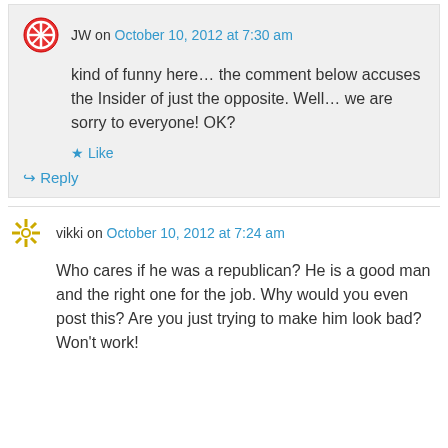JW on October 10, 2012 at 7:30 am
kind of funny here… the comment below accuses the Insider of just the opposite. Well… we are sorry to everyone! OK?
Like
Reply
vikki on October 10, 2012 at 7:24 am
Who cares if he was a republican? He is a good man and the right one for the job. Why would you even post this? Are you just trying to make him look bad? Won't work!